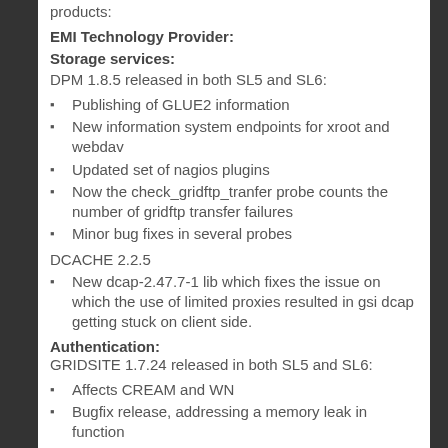products:
EMI Technology Provider:
Storage services:
DPM 1.8.5 released in both SL5 and SL6:
Publishing of GLUE2 information
New information system endpoints for xroot and webdav
Updated set of nagios plugins
Now the check_gridftp_tranfer probe counts the number of gridftp transfer failures
Minor bug fixes in several probes
DCACHE 2.2.5
New dcap-2.47.7-1 lib which fixes the issue on which the use of limited proxies resulted in gsi dcap getting stuck on client side.
Authentication:
GRIDSITE 1.7.24 released in both SL5 and SL6:
Affects CREAM and WN
Bugfix release, addressing a memory leak in function